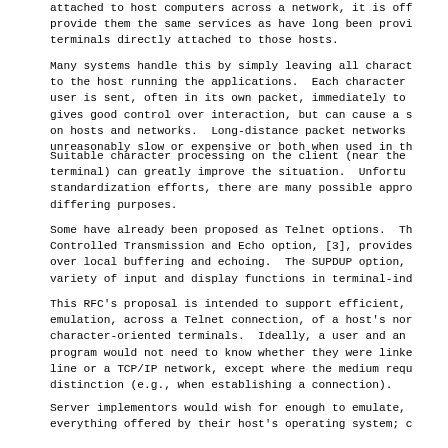attached to host computers across a network, it is often desirable to provide them the same services as have long been provided to terminals directly attached to those hosts.
Many systems handle this by simply leaving all character processing to the host running the applications.  Each character typed by the user is sent, often in its own packet, immediately to the host.  This gives good control over interaction, but can cause a serious load on hosts and networks.  Long-distance packet networks may become unreasonably slow or expensive or both when used in this way.
Suitable character processing on the client (near the user's terminal) can greatly improve the situation.  Unfortunately, without standardization efforts, there are many possible approaches, serving differing purposes.
Some have already been proposed as Telnet options.  The Locally Controlled Transmission and Echo option, [3], provides some control over local buffering and echoing.  The SUPDUP option, [4], defines a variety of input and display functions in terminal-independent ways.
This RFC's proposal is intended to support efficient, faithful emulation, across a Telnet connection, of a host's non-network character-oriented terminals.  Ideally, a user and an application program would not need to know whether they were linked by a serial line or a TCP/IP network, except where the medium requires the distinction (e.g., when establishing a connection).
Server implementors would wish for enough to emulate, transparently, everything offered by their host's operating system; other implementors